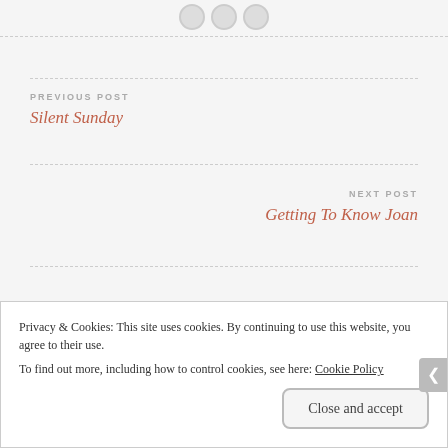[Figure (illustration): Decorative buttons/circles at the top of the page on a light grey background with a dashed border]
PREVIOUS POST
Silent Sunday
NEXT POST
Getting To Know Joan
9 thoughts on “My One Minute Mind”
Privacy & Cookies: This site uses cookies. By continuing to use this website, you agree to their use.
To find out more, including how to control cookies, see here: Cookie Policy